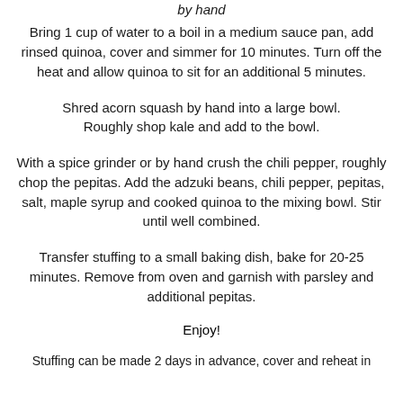minutes. Remove from oven and garnish with parsley and additional pepitas.
by hand
Bring 1 cup of water to a boil in a medium sauce pan, add rinsed quinoa, cover and simmer for 10 minutes. Turn off the heat and allow quinoa to sit for an additional 5 minutes.
Shred acorn squash by hand into a large bowl.
Roughly shop kale and add to the bowl.
With a spice grinder or by hand crush the chili pepper, roughly chop the pepitas. Add the adzuki beans, chili pepper, pepitas, salt, maple syrup and cooked quinoa to the mixing bowl. Stir until well combined.
Transfer stuffing to a small baking dish, bake for 20-25 minutes. Remove from oven and garnish with parsley and additional pepitas.
Enjoy!
Stuffing can be made 2 days in advance, cover and reheat in